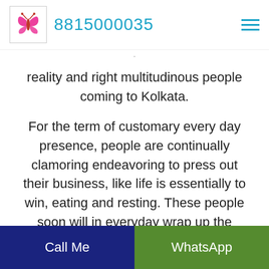8815000035
reality and right multitudinous people coming to Kolkata.
For the term of customary every day presence, people are continually clamoring endeavoring to press out their business, like life is essentially to win, eating and resting. These people soon will in everyday wrap up the hardships of wretchedness, terribleness, and desolation. Getting isn't terrible. Eating and resting absurdly isn't awful. Regardless, what
Call Me | WhatsApp